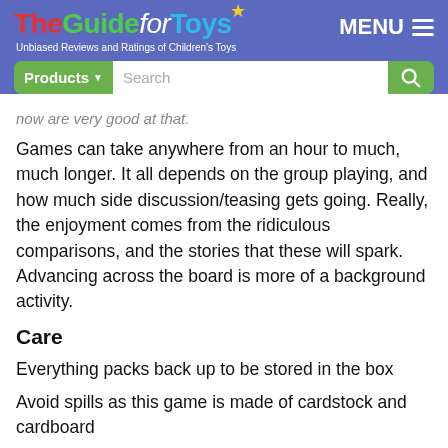The Guide for Toys — Unbiased Reviews and Ratings of Children's Toys
now are very good at that.
Games can take anywhere from an hour to much, much longer. It all depends on the group playing, and how much side discussion/teasing gets going. Really, the enjoyment comes from the ridiculous comparisons, and the stories that these will spark. Advancing across the board is more of a background activity.
Care
Everything packs back up to be stored in the box
Avoid spills as this game is made of cardstock and cardboard